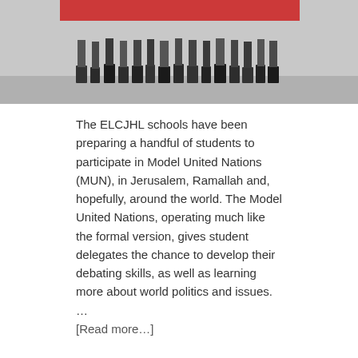[Figure (photo): Group photo showing people standing, only feet and lower legs visible, with a red banner at the top of the image]
The ELCJHL schools have been preparing a handful of students to participate in Model United Nations (MUN), in Jerusalem, Ramallah and, hopefully, around the world. The Model United Nations, operating much like the formal version, gives student delegates the chance to develop their debating skills, as well as learning more about world politics and issues. … [Read more…]
Posted in: ELCJHL News Tagged: ELCJHL, Evangelical Lutheran Church in Jordan and the Holy Land, Evangelical Lutheran Schools, Palestine, Peace, Youth
French President Hollande meets with